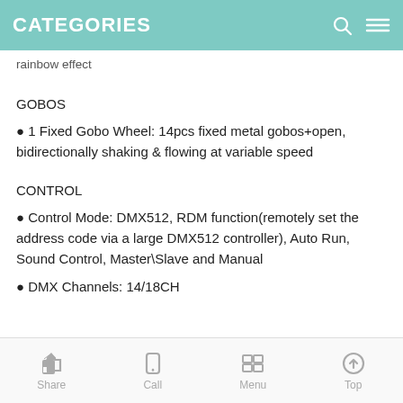CATEGORIES
rainbow effect
GOBOS
1 Fixed Gobo Wheel: 14pcs fixed metal gobos+open, bidirectionally shaking & flowing at variable speed
CONTROL
Control Mode: DMX512, RDM function(remotely set the address code via a large DMX512 controller), Auto Run, Sound Control, Master\Slave and Manual
DMX Channels: 14/18CH
Share  Call  Menu  Top